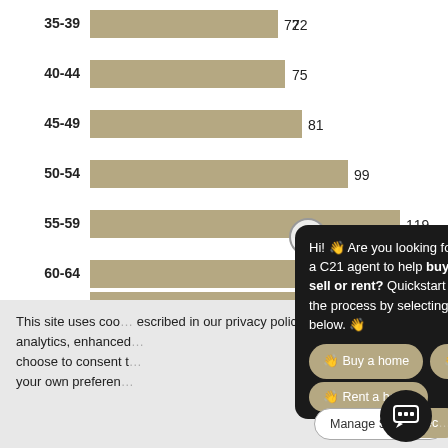[Figure (bar-chart): Age group bar chart]
This site uses coo... escribed in our privacy policy... operation, analytics, enhanced... ou may choose to consent to... or manage your own preferen...
[Figure (screenshot): Chatbot popup bubble: Hi! Are you looking for a C21 agent to help buy, sell or rent? Quickstart the process by selecting below. With buttons: Buy a home, Sell a home, Rent a home]